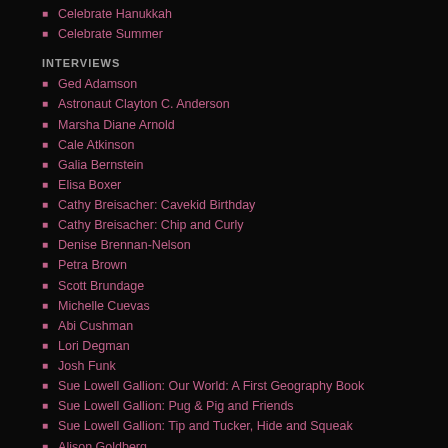Celebrate Hanukkah
Celebrate Summer
INTERVIEWS
Ged Adamson
Astronaut Clayton C. Anderson
Marsha Diane Arnold
Cale Atkinson
Galia Bernstein
Elisa Boxer
Cathy Breisacher: Cavekid Birthday
Cathy Breisacher: Chip and Curly
Denise Brennan-Nelson
Petra Brown
Scott Brundage
Michelle Cuevas
Abi Cushman
Lori Degman
Josh Funk
Sue Lowell Gallion: Our World: A First Geography Book
Sue Lowell Gallion: Pug & Pig and Friends
Sue Lowell Gallion: Tip and Tucker, Hide and Squeak
Alison Goldberg